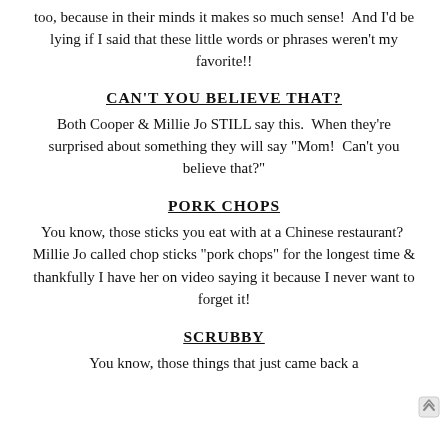too, because in their minds it makes so much sense!  And I'd be lying if I said that these little words or phrases weren't my favorite!!
CAN'T YOU BELIEVE THAT?
Both Cooper & Millie Jo STILL say this.  When they're surprised about something they will say "Mom!  Can't you believe that?"
PORK CHOPS
You know, those sticks you eat with at a Chinese restaurant?  Millie Jo called chop sticks "pork chops" for the longest time & thankfully I have her on video saying it because I never want to forget it!
SCRUBBY
You know, those things that just came back a